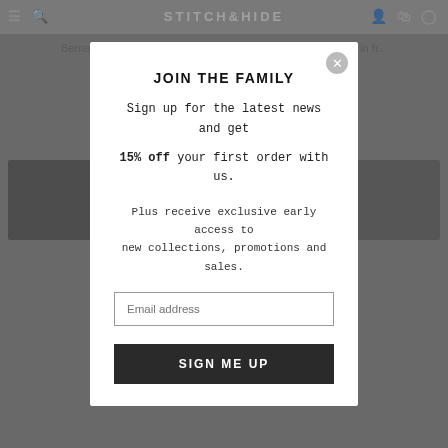STITCH&HIDE
Bernard ... t's most important ... e young fellas in b... fit and in ... .
Features: t... ng, 6 card slots , c... ble coin
Henry w... schemes. Definitely... d him to ser... ood.
Features: b... ng, 13 card slot... eve.
[Figure (photo): Two dark product photos visible at bottom of page behind modal overlay]
JOIN THE FAMILY

Sign up for the latest news and get

15% off your first order with us.

Plus receive exclusive early access to new collections, promotions and sales.

[Email address input]
[SIGN ME UP button]